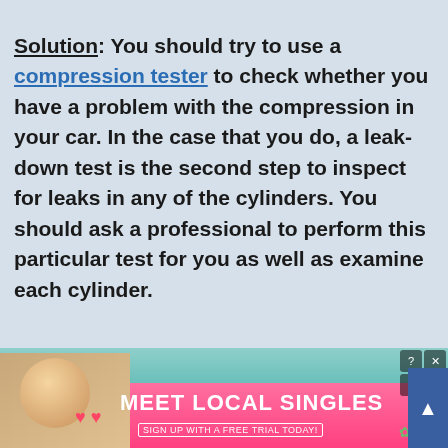Solution: You should try to use a compression tester to check whether you have a problem with the compression in your car. In the case that you do, a leak-down test is the second step to inspect for leaks in any of the cylinders. You should ask a professional to perform this particular test for you as well as examine each cylinder.
[Figure (infographic): Advertisement banner reading MEET LOCAL SINGLES with a woman's photo and Clover branding, overlaid with close buttons]